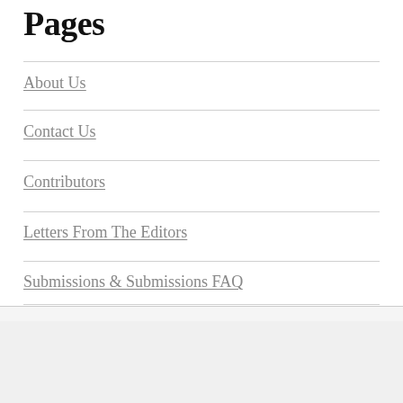Pages
About Us
Contact Us
Contributors
Letters From The Editors
Submissions & Submissions FAQ
Follow Us
Advertisements
[Figure (other): DuckDuckGo advertisement banner: 'Search, browse, and email with more privacy. All in One Free App' with DuckDuckGo logo on dark background]